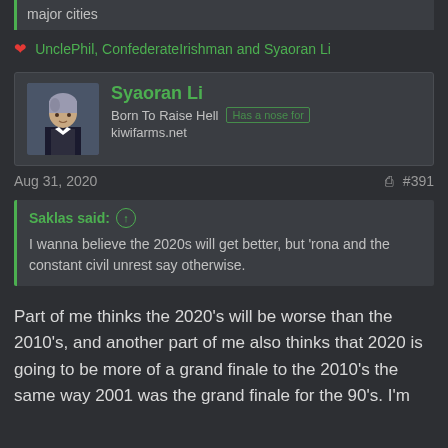major cities
rereading this thread was interesting
❤ UnclePhil, ConfederateIrishman and Syaoran Li
Syaoran Li
Born To Raise Hell
kiwifarms.net
Aug 31, 2020   #391
Saklas said: ↑
I wanna believe the 2020s will get better, but 'rona and the constant civil unrest say otherwise.
Part of me thinks the 2020's will be worse than the 2010's, and another part of me also thinks that 2020 is going to be more of a grand finale to the 2010's the same way 2001 was the grand finale for the 90's. I'm